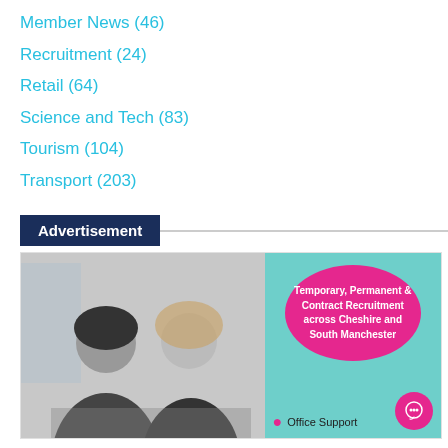Member News (46)
Recruitment (24)
Retail (64)
Science and Tech (83)
Tourism (104)
Transport (203)
Advertisement
[Figure (photo): Advertisement banner showing two women in black and white photo on the left, teal background on the right with pink oval containing text 'Temporary, Permanent & Contract Recruitment across Cheshire and South Manchester', and bullet point 'Office Support' at the bottom right.]